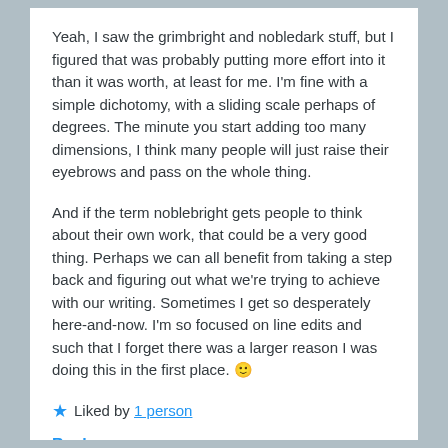Yeah, I saw the grimbright and nobledark stuff, but I figured that was probably putting more effort into it than it was worth, at least for me. I'm fine with a simple dichotomy, with a sliding scale perhaps of degrees. The minute you start adding too many dimensions, I think many people will just raise their eyebrows and pass on the whole thing.
And if the term noblebright gets people to think about their own work, that could be a very good thing. Perhaps we can all benefit from taking a step back and figuring out what we're trying to achieve with our writing. Sometimes I get so desperately here-and-now. I'm so focused on line edits and such that I forget there was a larger reason I was doing this in the first place. 🙂
★ Liked by 1 person
Reply